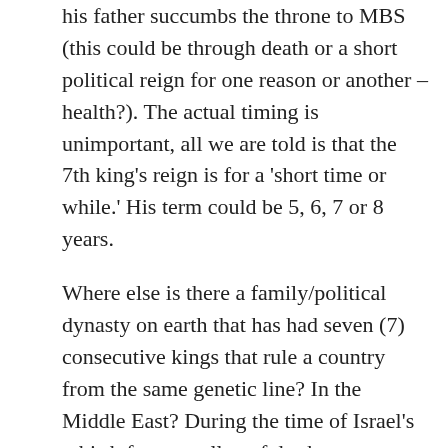his father succumbs the throne to MBS (this could be through death or a short political reign for one reason or another – health?). The actual timing is unimportant, all we are told is that the 7th king's reign is for a 'short time or while.' His term could be 5, 6, 7 or 8 years.
Where else is there a family/political dynasty on earth that has had seven (7) consecutive kings that rule a country from the same genetic line? In the Middle East? During the time of Israel's rebirth from a valley of dry bones to a budding fig tree? Saudi Arabia's current 7th king and future 8th king fit the Biblical narratives set forth by the Word of God. 7th and 8th kings from the bottomless pit of evil, money, power, influence, corruption (5 Satanic influences). MBS is prince when he confirms the covenant. MBS becomes an Antichrist when he is worshiped as a mujaddid by Muslims, and then becomes the